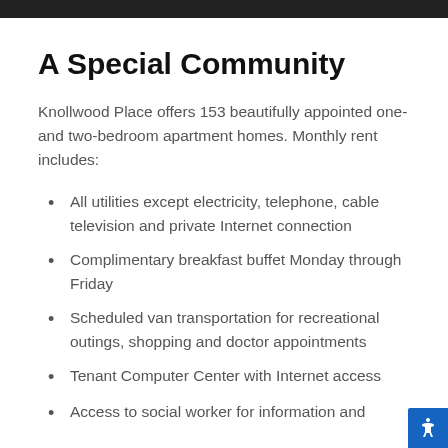A Special Community
Knollwood Place offers 153 beautifully appointed one- and two-bedroom apartment homes. Monthly rent includes:
All utilities except electricity, telephone, cable television and private Internet connection
Complimentary breakfast buffet Monday through Friday
Scheduled van transportation for recreational outings, shopping and doctor appointments
Tenant Computer Center with Internet access
Access to social worker for information and